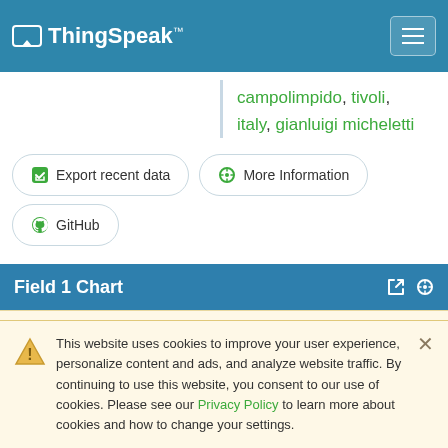ThingSpeak™
campolimpido, tivoli, italy, gianluigi micheletti
Export recent data
More Information
GitHub
Field 1 Chart
WEMOS D1 MINI - TEMPERATURE
This website uses cookies to improve your user experience, personalize content and ads, and analyze website traffic. By continuing to use this website, you consent to our use of cookies. Please see our Privacy Policy to learn more about cookies and how to change your settings.